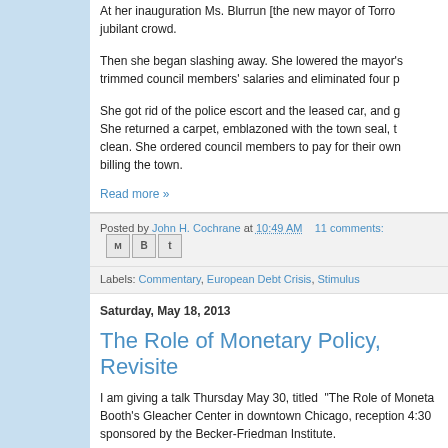At her inauguration Ms. Blurrun [the new mayor of Torro... jubilant crowd.
Then she began slashing away. She lowered the mayor's... trimmed council members' salaries and eliminated four p...
She got rid of the police escort and the leased car, and g... She returned a carpet, emblazoned with the town seal, t... clean. She ordered council members to pay for their own... billing the town.
Read more »
Posted by John H. Cochrane at 10:49 AM   11 comments:
Labels: Commentary, European Debt Crisis, Stimulus
Saturday, May 18, 2013
The Role of Monetary Policy, Revisite...
I am giving a talk Thursday May 30, titled "The Role of Moneta... Booth's Gleacher Center in downtown Chicago, reception 4:30... sponsored by the Becker-Friedman Institute.